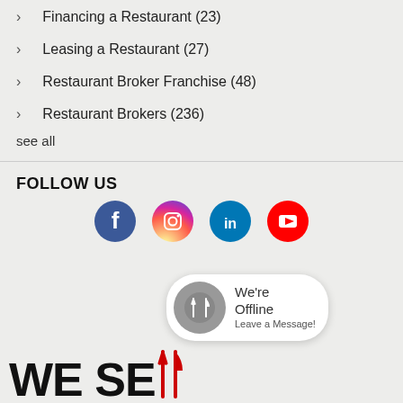Financing a Restaurant (23)
Leasing a Restaurant (27)
Restaurant Broker Franchise (48)
Restaurant Brokers (236)
see all
FOLLOW US
[Figure (illustration): Social media icons: Facebook (blue circle with f), Instagram (purple/pink circle with camera icon), LinkedIn (teal circle with in), YouTube (red circle with play button)]
[Figure (illustration): Chat bubble widget showing a restaurant icon (fork and knife on grey circle) with text 'We're Offline Leave a Message!']
[Figure (logo): WE SELL logo in bold black text with red fork and knife icons replacing letters]